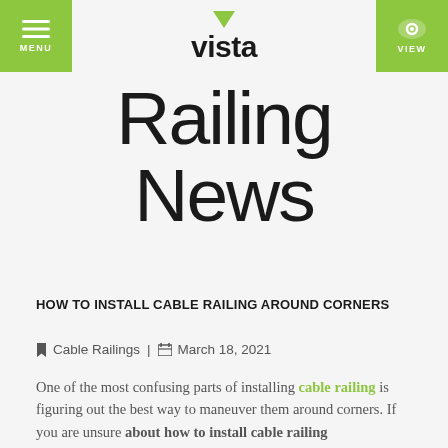MENU | vista | VIEW
Railing News
HOW TO INSTALL CABLE RAILING AROUND CORNERS
Cable Railings | March 18, 2021
One of the most confusing parts of installing cable railing is figuring out the best way to maneuver them around corners. If you are unsure about how to install cable railing